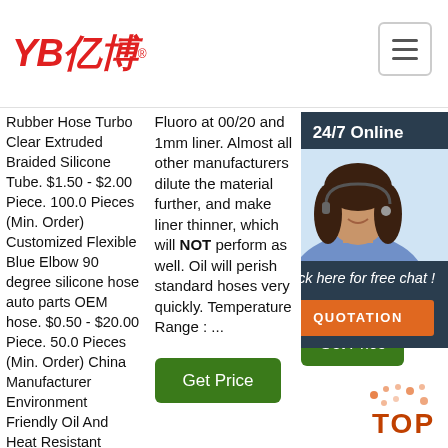[Figure (logo): YB亿博 company logo in red italic text]
Rubber Hose Turbo Clear Extruded Braided Silicone Tube. $1.50 - $2.00 Piece. 100.0 Pieces (Min. Order) Customized Flexible Blue Elbow 90 degree silicone hose auto parts OEM hose. $0.50 - $20.00 Piece. 50.0 Pieces (Min. Order) China Manufacturer Environment Friendly Oil And Heat Resistant Silicone Turbo Hose Kits.
Fluoro at 00/20 and 1mm liner. Almost all other manufacturers dilute the material further, and make liner thinner, which will NOT perform as well. Oil will perish standard hoses very quickly. Temperature Range : ...
tubes. Standards' Line... Hose... use high app hos ava and coo and hos
[Figure (screenshot): 24/7 Online chat widget with customer service representative photo, 'Click here for free chat!' text and QUOTATION button]
Get Price
Get Price